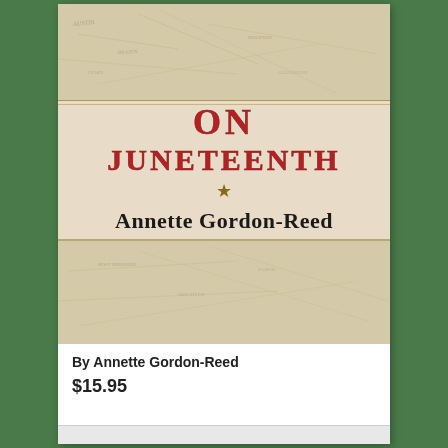[Figure (photo): Book cover of 'On Juneteenth' by Annette Gordon-Reed. Cover features a beige/cream aged map background. The title 'ON JUNETEENTH' is displayed in bold red serif letters. Below is a decorative brown star, then the author name 'Annette Gordon-Reed' in large black serif text, followed by 'WINNER OF THE PULITZER PRIZE' in small red uppercase letters. The design has horizontal stripe dividers above and below the center text area.]
By Annette Gordon-Reed
$15.95